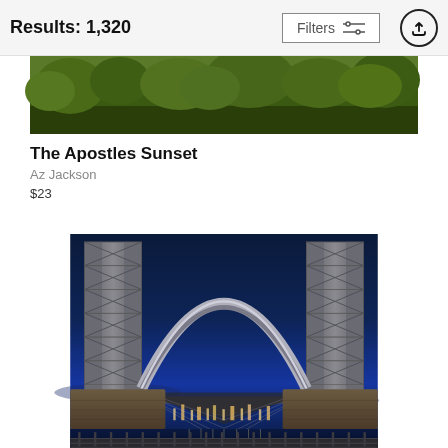Results: 1,320
[Figure (screenshot): Filters button with sliders icon and upload/share circle arrow button in header bar]
[Figure (photo): Top portion of a nature/forest landscape photo partially visible, showing dark green trees]
The Apostles Sunset
Az Jackson
$23
[Figure (photo): Night-time photo looking up at a massive suspension bridge (appears to be the Williamsburg Bridge in New York) from below, showing steel lattice towers and arched structure lit against a deep blue night sky, with city lights and water reflection visible in the background]